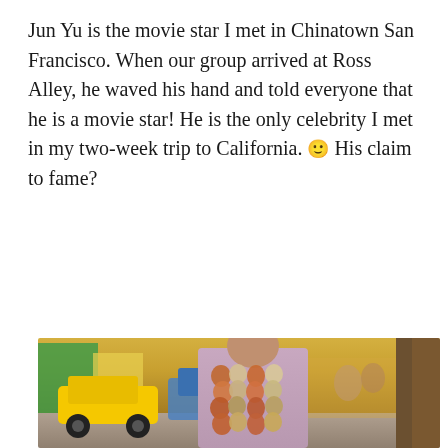Jun Yu is the movie star I met in Chinatown San Francisco. When our group arrived at Ross Alley, he waved his hand and told everyone that he is a movie star! He is the only celebrity I met in my two-week trip to California. 🙂 His claim to fame?
[Figure (photo): A man seen from behind wearing a purple/mauve shirt with strings of onions and garlic draped over his shoulders and back, walking down a busy colorful street. In the background there is a yellow taxi, blue vehicle, colorful buildings, and a wooden utility pole on the right. The scene appears to be a vibrant Latin American or Asian market street.]